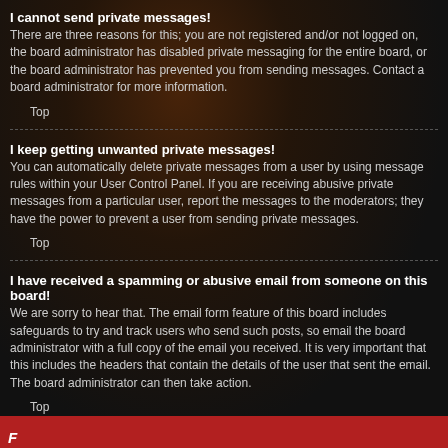I cannot send private messages!
There are three reasons for this; you are not registered and/or not logged on, the board administrator has disabled private messaging for the entire board, or the board administrator has prevented you from sending messages. Contact a board administrator for more information.
Top
I keep getting unwanted private messages!
You can automatically delete private messages from a user by using message rules within your User Control Panel. If you are receiving abusive private messages from a particular user, report the messages to the moderators; they have the power to prevent a user from sending private messages.
Top
I have received a spamming or abusive email from someone on this board!
We are sorry to hear that. The email form feature of this board includes safeguards to try and track users who send such posts, so email the board administrator with a full copy of the email you received. It is very important that this includes the headers that contain the details of the user that sent the email. The board administrator can then take action.
Top